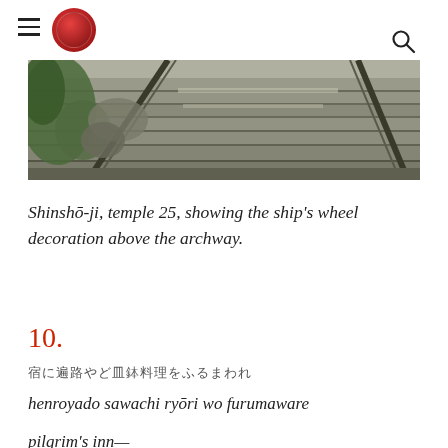≡ [logo] 🔍
[Figure (photo): Stone steps leading upward, with a metal railing on the right side and vegetation/rocks on the left, photographed at a temple]
Shinshō-ji, temple 25, showing the ship's wheel decoration above the archway.
10.
宿に遍路やど皿鉢料理をふるまわれ
henroyado sawachi ryōri wo furumaware
pilgrim's inn—